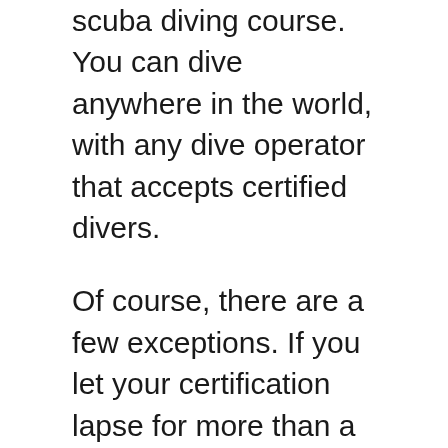scuba diving course. You can dive anywhere in the world, with any dive operator that accepts certified divers.
Of course, there are a few exceptions. If you let your certification lapse for more than a year, you will need to retake a scuba diving course. And if you want to dive with a certain operator or in a certain location that requires special training, you will need to get certified for that specific activity. But other than that, your scuba diving certification is good for life.
So dive often and dive safe! And don't forget to show off your certification card whenever you book a dive trip or rent scuba gear. Your certification is your ticket to a lifetime of...